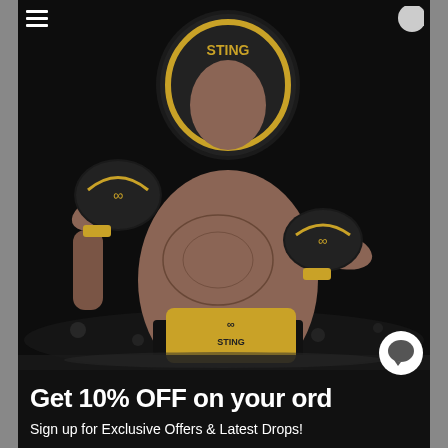[Figure (photo): A tattooed male boxer wearing black and gold STING boxing gloves and a black STING headgear, throwing a punch. He wears a gold championship belt with STING logo. Dark background suggesting a boxing ring environment.]
Get 10% OFF on your ord
Sign up for Exclusive Offers & Latest Drops!